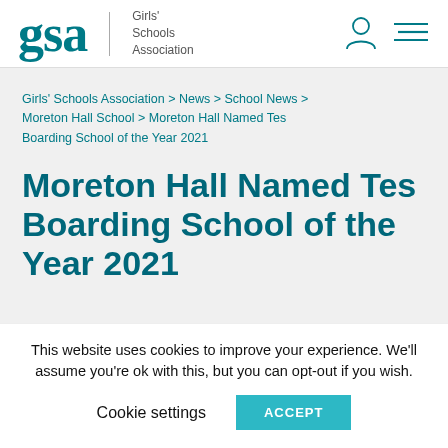gsa | Girls' Schools Association
Girls' Schools Association > News > School News > Moreton Hall School > Moreton Hall Named Tes Boarding School of the Year 2021
Moreton Hall Named Tes Boarding School of the Year 2021
This website uses cookies to improve your experience. We'll assume you're ok with this, but you can opt-out if you wish.
Cookie settings  ACCEPT